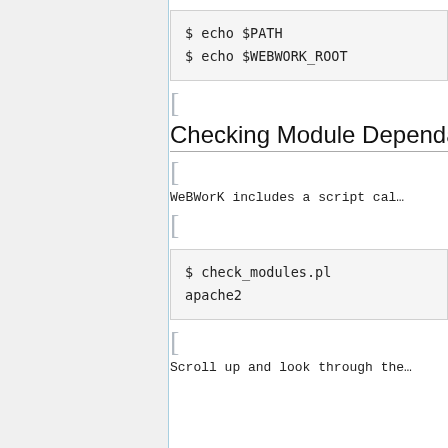$ echo $PATH
$ echo $WEBWORK_ROOT
Checking Module Dependa...
WeBWorK includes a script cal...
$ check_modules.pl
apache2
Scroll up and look through the...